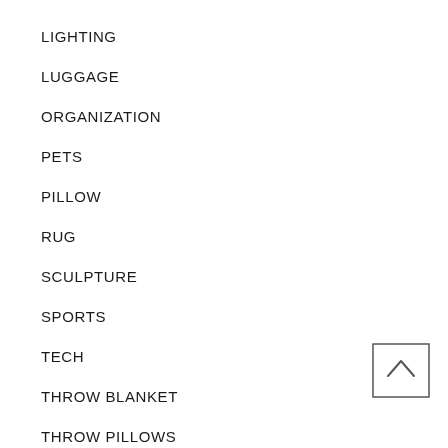LIGHTING
LUGGAGE
ORGANIZATION
PETS
PILLOW
RUG
SCULPTURE
SPORTS
TECH
THROW BLANKET
THROW PILLOWS
[Figure (other): Back to top button with upward chevron arrow inside a square border]